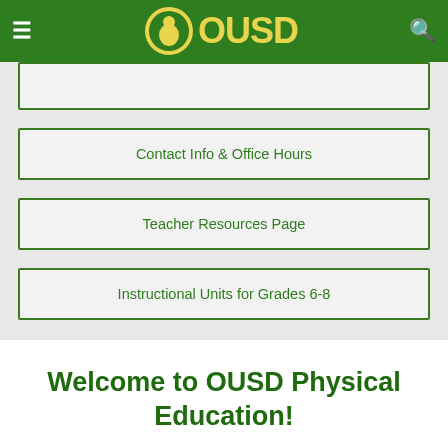OUSD
Contact Info & Office Hours
Teacher Resources Page
Instructional Units for Grades 6-8
Welcome to OUSD Physical Education!